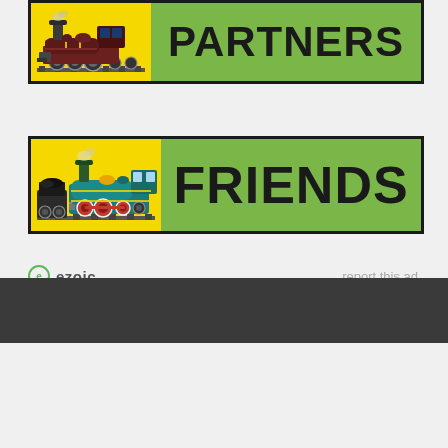[Figure (illustration): Train membership banner with yellow locomotive image on left and 'PARTNERS' text on green background on right, black border]
[Figure (illustration): Train membership banner with yellow/teal locomotive image on left and 'FRIENDS' text on green background on right, black border]
ezoic  report this ad